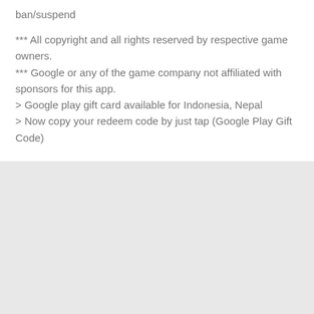ban/suspend
*** All copyright and all rights reserved by respective game owners.
*** Google or any of the game company not affiliated with sponsors for this app.
> Google play gift card available for Indonesia, Nepal
> Now copy your redeem code by just tap (Google Play Gift Code)